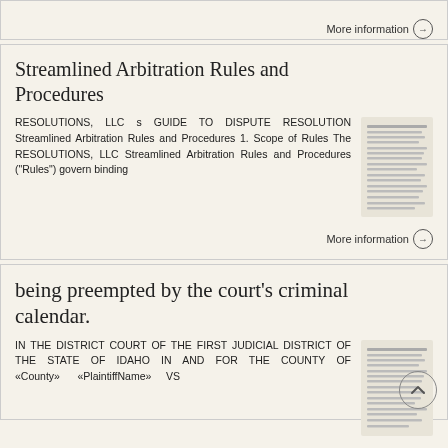More information →
Streamlined Arbitration Rules and Procedures
RESOLUTIONS, LLC s GUIDE TO DISPUTE RESOLUTION Streamlined Arbitration Rules and Procedures 1. Scope of Rules The RESOLUTIONS, LLC Streamlined Arbitration Rules and Procedures ("Rules") govern binding
More information →
being preempted by the court's criminal calendar.
IN THE DISTRICT COURT OF THE FIRST JUDICIAL DISTRICT OF THE STATE OF IDAHO IN AND FOR THE COUNTY OF «County» «PlaintiffName» VS